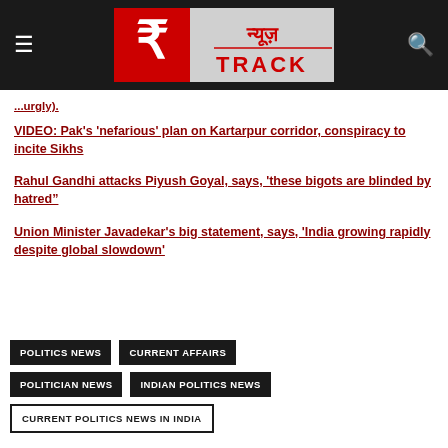[Figure (logo): News Track logo with Hindi text न्यूज़ TRACK on dark header bar with hamburger menu and search icon]
...urgly).
VIDEO: Pak's 'nefarious' plan on Kartarpur corridor, conspiracy to incite Sikhs
Rahul Gandhi attacks Piyush Goyal, says, 'these bigots are blinded by hatred"
Union Minister Javadekar's big statement, says, 'India growing rapidly despite global slowdown'
POLITICS NEWS | CURRENT AFFAIRS | POLITICIAN NEWS | INDIAN POLITICS NEWS | CURRENT POLITICS NEWS IN INDIA